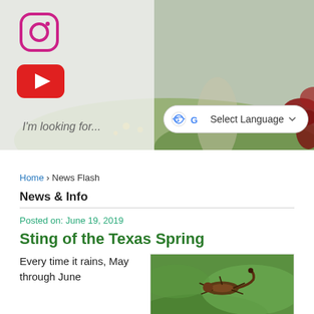[Figure (logo): Instagram logo icon - rounded square with camera outline in pink/purple]
[Figure (logo): YouTube logo icon - red rounded rectangle with white play triangle]
I'm looking for...
Select Language
[Figure (photo): Background hero image of a meadow with wildflowers, green grass, pathway, and a large dark red flower on the right side]
Home › News Flash
News & Info
Posted on: June 19, 2019
Sting of the Texas Spring
Every time it rains, May through June
[Figure (photo): Close-up photo of an insect (stinging insect/scorpion) on green plant foliage]